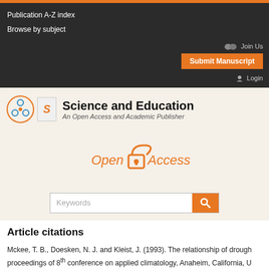Publication A-Z index
Browse by subject
Join Us
Submit Manuscript
Login
[Figure (logo): Science and Education open access publisher logo with biohazard-style circular icon and stylized 'S' letter]
Science and Education
An Open Access and Academic Publisher
[Figure (logo): Open Access logo — orange padlock icon with text 'Open Access']
Keywords search box
Article citations
Mckee, T. B., Doesken, N. J. and Kleist, J. (1993). The relationship of drought frequency and duration to time scales. In proceedings of 8th conference on applied climatology, Anaheim, California, U